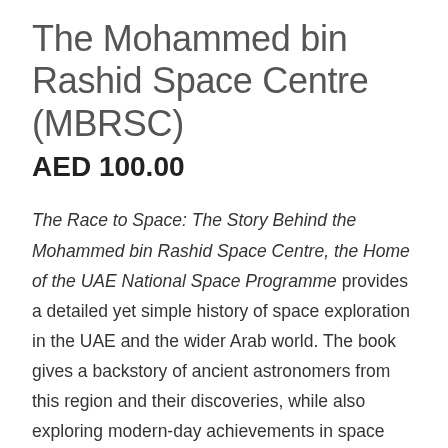The Mohammed bin Rashid Space Centre (MBRSC)
AED 100.00
The Race to Space: The Story Behind the Mohammed bin Rashid Space Centre, the Home of the UAE National Space Programme provides a detailed yet simple history of space exploration in the UAE and the wider Arab world. The book gives a backstory of ancient astronomers from this region and their discoveries, while also exploring modern-day achievements in space science and travel. From MBRSC's first satellite to the Mars Hope Probe, the